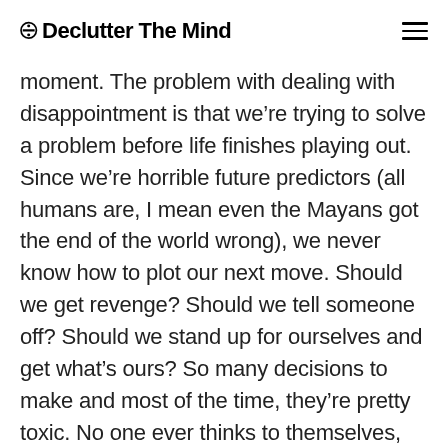⊠ Declutter The Mind
moment. The problem with dealing with disappointment is that we're trying to solve a problem before life finishes playing out. Since we're horrible future predictors (all humans are, I mean even the Mayans got the end of the world wrong), we never know how to plot our next move. Should we get revenge? Should we tell someone off? Should we stand up for ourselves and get what's ours? So many decisions to make and most of the time, they're pretty toxic. No one ever thinks to themselves, how can I be grateful for this experience? What can I learn